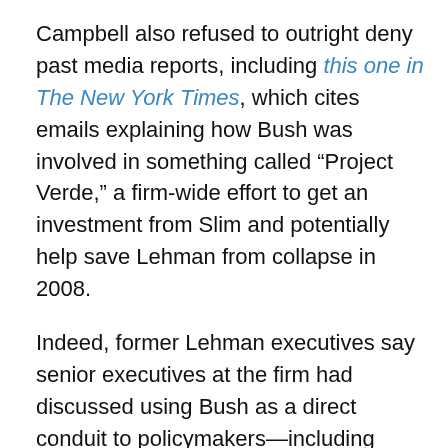Campbell also refused to outright deny past media reports, including this one in The New York Times, which cites emails explaining how Bush was involved in something called “Project Verde,” a firm-wide effort to get an investment from Slim and potentially help save Lehman from collapse in 2008.
Indeed, former Lehman executives say senior executives at the firm had discussed using Bush as a direct conduit to policymakers—including those reporting to his brother, who was president during the financial crisis—as Lehman was sinking further into insolvency and regulators balked at including the firm in their broader bailout packages.
Campbell says Bush never intervened with people reporting to his brother. “I do want to be very explicit on one point: Governor Bush was never asked to contact his